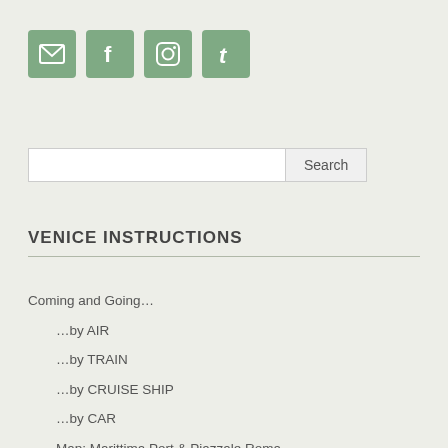[Figure (illustration): Four social media icon buttons: email (envelope), Facebook (f), Instagram (camera), Tumblr (t), styled as green rounded squares]
[Figure (other): Search bar with text input field and Search button]
VENICE INSTRUCTIONS
Coming and Going…
…by AIR
…by TRAIN
…by CRUISE SHIP
…by CAR
Map: Marittima Port & Piazzale Roma
Venice Vaporetto Guide
Vaporetto Intro